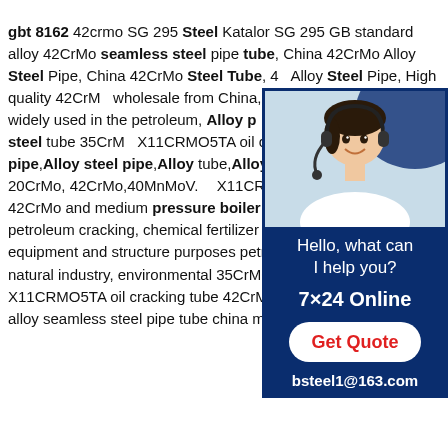gbt 8162 42crmo SG 295 Steel Katalor SG 295 GB standard alloy 42CrMo seamless steel pipe tube, China 42CrMo Alloy Steel Pipe, China 42CrMo Steel Tube, 42CrMo Alloy Steel Pipe 42CrMo, High quality 42CrMo wholesale from China,GB/T 8162 42CrMo are widely used in the petroleum, Alloy pipe,Alloy tube,Alloy steel tube 35CrMo X11CRMO5TA oil cracking tube 42CrMo pipe,Alloy steel pipe,Alloy tube,Alloy steel 20CrMnTi, 20CrMo, 42CrMo,40MnMoV. X11CRMO5TA oil cracking tube 42CrMo and medium pressure boiler, high pressure service, petroleum cracking, chemical fertilizer equipment, drawing-oil-equipment and structure purposes petrochemical industry, natural industry, environmental 35CrMO alloy tube X11CRMO5TA oil cracking tube 42CrMo seamless tube42crmo4 alloy seamless steel pipe tube china manufacturer 35CrMO alloy
[Figure (photo): Customer service representative wearing a headset smiling, with dark blue background. Below photo: 'Hello, what can I help you?', '7x24 Online', 'Get Quote' button in red text on white oval, 'bsteel1@163.com']